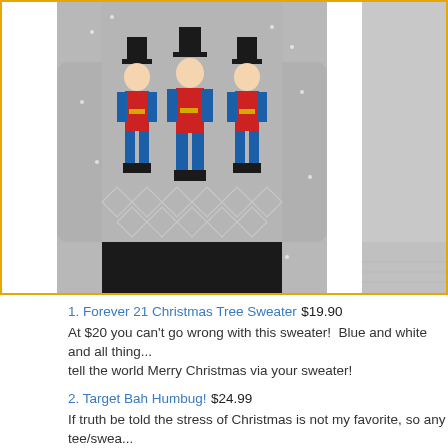[Figure (photo): Two Christmas sweaters partially shown. Left: a gray knit sweater with three nutcracker soldiers in red, blue, black and gold on the chest, worn by a person in black pants. Right: partial view of a plain gray ribbed sweater sleeve. The pair is framed with a yellow/gold border.]
1. Forever 21 Christmas Tree Sweater $19.90
At $20 you can't go wrong with this sweater!  Blue and white and all thing... tell the world Merry Christmas via your sweater!
2. Target Bah Humbug! $24.99
If truth be told the stress of Christmas is not my favorite, so any tee/swea...
3. NFL Ugly Christmas Sweater $64.95
I love football and who was the genius that made these sweaters?  Supp... sweater?  Yes, please!
4. Kohl's Penguin Christmas Sweater $32.99